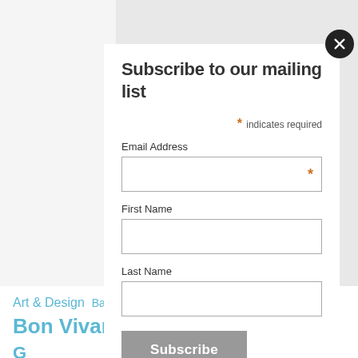Subscribe to our mailing list
* indicates required
Email Address
First Name
Last Name
Subscribe
Art & Design Bazaar Beauty Bon Vivant Collective